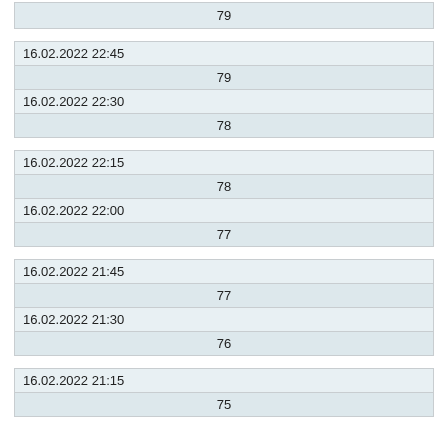| 79 |
| 16.02.2022 22:45 |
| 79 |
| 16.02.2022 22:30 |
| 78 |
| 16.02.2022 22:15 |
| 78 |
| 16.02.2022 22:00 |
| 77 |
| 16.02.2022 21:45 |
| 77 |
| 16.02.2022 21:30 |
| 76 |
| 16.02.2022 21:15 |
| 75 |